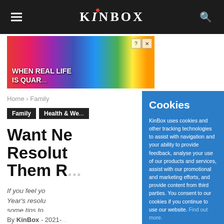KinBox
[Figure (screenshot): Advertisement banner with rainbow background showing text 'WHEN REAL LIFE IS QUAR...' with close button]
Home › Family
Family  Health & We...
Want Ne
Resolut
Them R...
If you feel yo
Year's resolu
some tips to...
By KinBox - 2021-...
Cookies
KinBox uses cookies and other tracking technologies to assist with navigation and your ability to provide feedback, analyse your use of our products and services, assist with our promotional and marketing efforts, and provide content from third parties. You consent to our cookies if you continue to use our website. Find out more.
OK